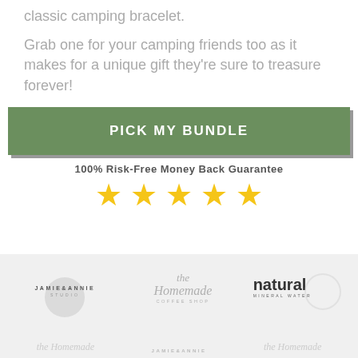classic camping bracelet.
Grab one for your camping friends too as it makes for a unique gift they're sure to treasure forever!
PICK MY BUNDLE
100% Risk-Free Money Back Guarantee
[Figure (infographic): Five gold stars rating]
[Figure (logo): Brand logos strip: Jamie & Annie Studio, The Homemade Coffee Shop, Natural Mineral Water, and repeated logos]